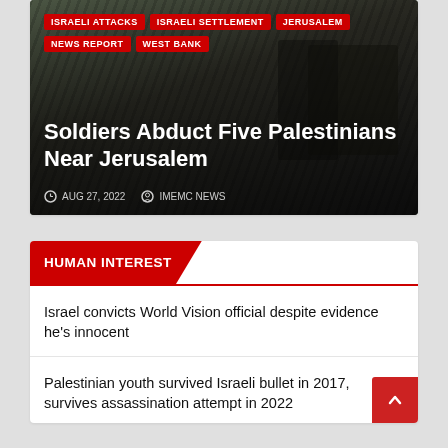[Figure (photo): News article hero image showing crowd scene with dark overlay, tags and headline overlaid on photo]
ISRAELI ATTACKS
ISRAELI SETTLEMENT
JERUSALEM
NEWS REPORT
WEST BANK
Soldiers Abduct Five Palestinians Near Jerusalem
AUG 27, 2022   IMEMC NEWS
HUMAN INTEREST
Israel convicts World Vision official despite evidence he's innocent
Palestinian youth survived Israeli bullet in 2017, survives assassination attempt in 2022